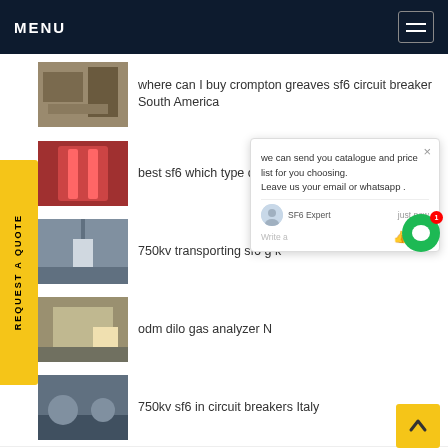MENU
where can I buy crompton greaves sf6 circuit breaker South America
best sf6 which type of g…
750kv transporting sf6 g… k…
odm dilo gas analyzer N…
750kv sf6 in circuit breakers Italy
iso sf6 dilo Egypt